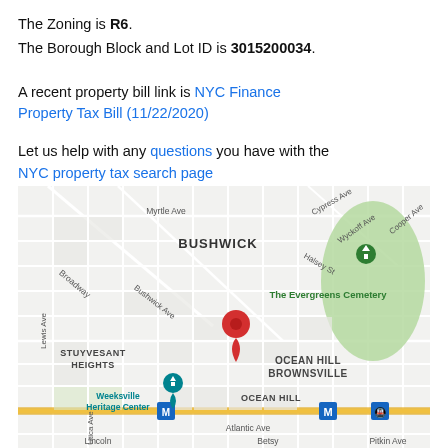The Zoning is R6.
The Borough Block and Lot ID is 3015200034.
A recent property bill link is NYC Finance Property Tax Bill (11/22/2020)
Let us help with any questions you have with the NYC property tax search page
[Figure (map): Google Maps screenshot showing a map of Brooklyn, NY with neighborhoods BUSHWICK, STUYVESANT HEIGHTS, OCEAN HILL BROWNSVILLE, OCEAN HILL labeled. Streets visible include Myrtle Ave, Broadway, Bushwick Ave, Wyckoff Ave, Cypress Ave, Cooper Ave, Halsey St, Lewis Ave, Atlantic Ave, Utica Ave, Pitkin Ave, Lincoln, Betsy. The Evergreens Cemetery shown as green area. A red location pin is placed in the Ocean Hill/Brownsville area. Weeksville Heritage Center and Atlantic Ave subway markers also visible.]